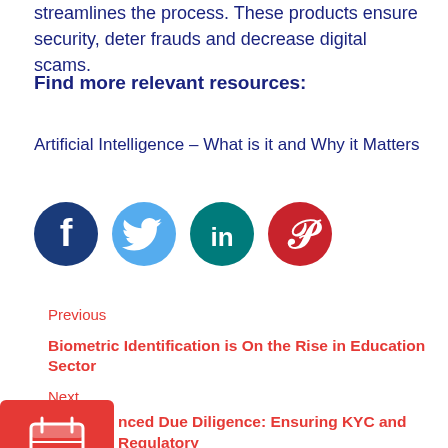streamlines the process. These products ensure security, deter frauds and decrease digital scams.
Find more relevant resources:
Artificial Intelligence – What is it and Why it Matters
[Figure (infographic): Social media sharing icons: Facebook (dark blue circle with white f), Twitter (light blue circle with white bird), LinkedIn (teal circle with white in), Pinterest (red circle with white P)]
Previous
Biometric Identification is On the Rise in Education Sector
Next
nced Due Diligence: Ensuring KYC and Regulatory
tiny